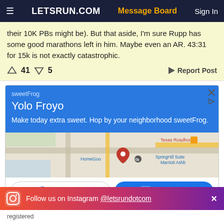LETSRUN.COM | Message Board | Sign In
their 10K PBs might be). But that aside, I'm sure Rupp has some good marathons left in him. Maybe even an AR. 43:31 for 15k is not exactly catastrophic.
↑ 41  ↓ 5   ◄ Report Post
[Figure (screenshot): Google Maps ad for sweetFrog / Yolo Froyo showing blue info card with text 'Make today extra sweet. Hop by your neighborhood sweetFrog.' with a map view showing Texas Roadhouse, HomeGoods, SpringHill Suites Marriott Ashburn area, and Store info / Directions buttons]
Follow us on Instagram @letsrundotcom
registered